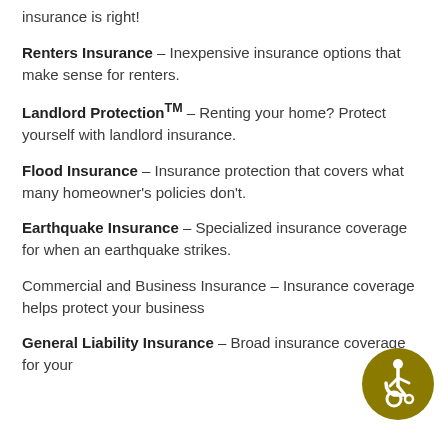insurance is right!
Renters Insurance – Inexpensive insurance options that make sense for renters.
Landlord Protection™ – Renting your home? Protect yourself with landlord insurance.
Flood Insurance – Insurance protection that covers what many homeowner's policies don't.
Earthquake Insurance – Specialized insurance coverage for when an earthquake strikes.
Commercial and Business Insurance – Insurance coverage helps protect your business
General Liability Insurance – Broad insurance coverage for your
[Figure (illustration): Accessibility icon: white wheelchair user symbol on dark olive/gold circular background]